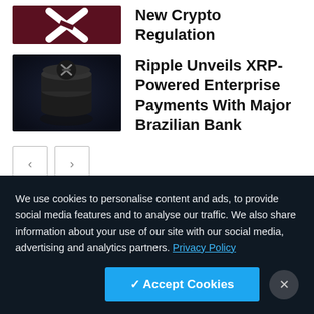[Figure (photo): Partial thumbnail of XRP/crypto image with dark red background and white X logo, cropped at top]
New Crypto Regulation
[Figure (photo): Thumbnail of stacked black coins with XRP logo on dark background]
Ripple Unveils XRP-Powered Enterprise Payments With Major Brazilian Bank
[Figure (other): Navigation previous and next arrow buttons]
[Figure (area-chart): Blue area/line chart showing price or value over time with peaks and valleys, partially visible]
We use cookies to personalise content and ads, to provide social media features and to analyse our traffic. We also share information about your use of our site with our social media, advertising and analytics partners. Privacy Policy
✓ Accept Cookies